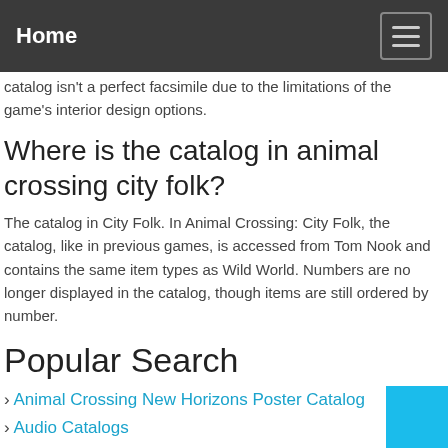Home
catalog isn't a perfect facsimile due to the limitations of the game's interior design options.
Where is the catalog in animal crossing city folk?
The catalog in City Folk. In Animal Crossing: City Folk, the catalog, like in previous games, is accessed from Tom Nook and contains the same item types as Wild World. Numbers are no longer displayed in the catalog, though items are still ordered by number.
Popular Search
Animal Crossing New Horizons Poster Catalog
Audio Catalogs
Accessory Catalogs